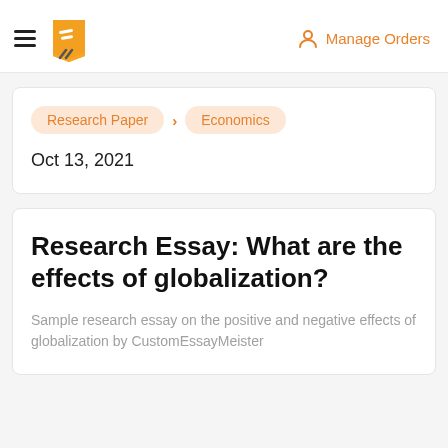Manage Orders
Research Paper > Economics
Oct 13, 2021
Research Essay: What are the effects of globalization?
Sample research essay on the positive and negative effects of globalization by CustomEssayMeister